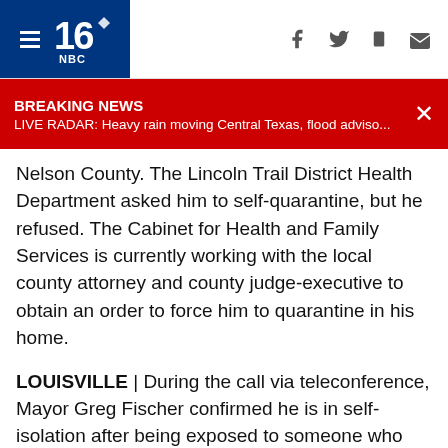WDRB News – Navigation bar with hamburger menu, logo, and social/share icons
BREAKING NEWS – LIVE RADAR: Heavy rain moving Central Texas, flood adviso...
Nelson County. The Lincoln Trail District Health Department asked him to self-quarantine, but he refused. The Cabinet for Health and Family Services is currently working with the local county attorney and county judge-executive to obtain an order to force him to quarantine in his home.
LOUISVILLE | During the call via teleconference, Mayor Greg Fischer confirmed he is in self-isolation after being exposed to someone who tested positive for the virus. Fischer gave the following statement:
“Although I have no symptoms, I was tested for the virus in consultation with the Metro Department of Health and Wellness. I do not yet have the results of that test. In the meantime, I have self-isolated, just as we’d ask anyone to do. Should the test come back positive, I’ll be working from home for the quarantine period, which begins with date of